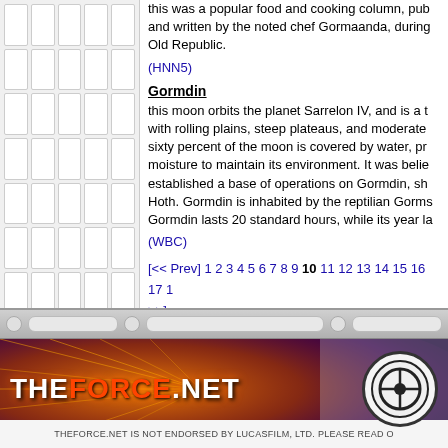this was a popular food and cooking column, published and written by the noted chef Gormaanda, during the Old Republic.
(HNN5)
Gormdin
this moon orbits the planet Sarrelon IV, and is a temperate world with rolling plains, steep plateaus, and moderate valleys. About sixty percent of the moon is covered by water, providing enough moisture to maintain its environment. It was believed the Empire established a base of operations on Gormdin, similar to the one on Hoth. Gormdin is inhabited by the reptilian Gorms. A day on Gormdin lasts 20 standard hours, while its year la...
(WBC)
[<< Prev] 1 2 3 4 5 6 7 8 9 10 11 12 13 14 15 16 17 1... >>]
[Figure (screenshot): TheForce.net website banner with logo and circular Rebel emblem logo]
THEFORCE.NET IS NOT ENDORSED BY LUCASFILM, LTD. PLEASE READ O...